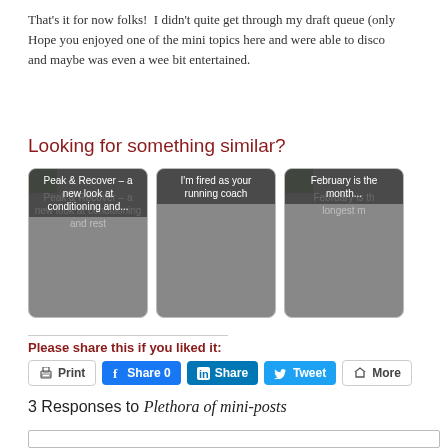That's it for now folks!  I didn't quite get through my draft queue (only. Hope you enjoyed one of the mini topics here and were able to disco and maybe was even a wee bit entertained.
Looking for something similar?
[Figure (other): Three content cards: 'Peak & Recover – a new look at conditioning and...', 'I'm fired as your running coach', 'February is the... month...' — each shown as a grey rounded rectangle thumbnail with overlaid title text.]
Please share this if you liked it:
[Figure (other): Social share buttons: Print, Share 0 (Facebook), Share (LinkedIn), Tweet (Twitter), More]
3 Responses to Plethora of mini-posts